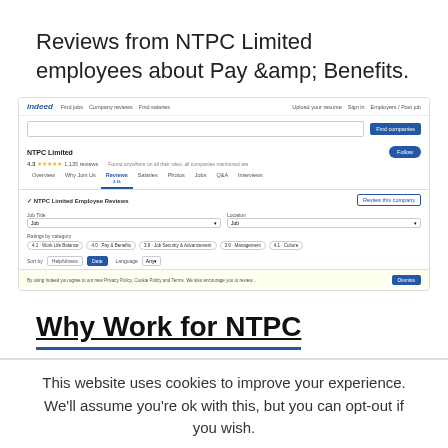Reviews from NTPC Limited employees about Pay &amp; Benefits.
[Figure (screenshot): Screenshot of Indeed.com showing NTPC Limited employee reviews page with navigation tabs, rating, filters for Job Title and Location, category tags including Work Life Balance, Pay & Benefits, Job Security & Advancement, Management, Culture, and a cookie consent banner at the bottom.]
Why Work for NTPC
This website uses cookies to improve your experience. We'll assume you're ok with this, but you can opt-out if you wish.
Cookie settings  ACCEPT